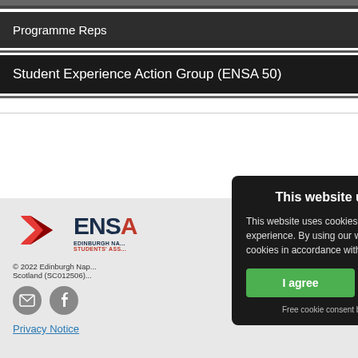Programme Reps
Student Experience Action Group (ENSA 50)
[Figure (logo): ENSA Edinburgh Napier Students' Association logo with red triangle/chevron icon]
© 2022 Edinburgh Nap... Scotland (SC012506)...
[Figure (infographic): Social media icons: email envelope and Facebook]
Privacy Notice
This website uses cookies
This website uses cookies to improve user experience. By using our website you consent to all cookies in accordance with our Cookie Policy.
I agree | Read more
Free cookie consent by cookie-script.com